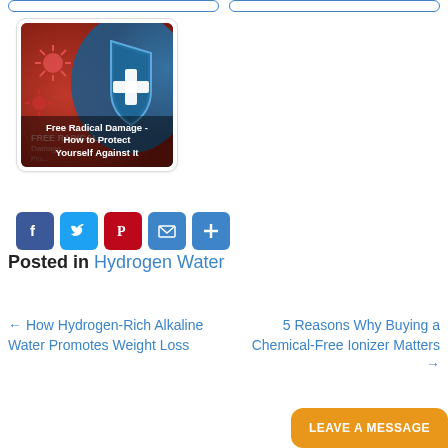[Figure (illustration): Article thumbnail: red background with virus/pathogen illustration and blue shield with plus sign. Overlay text reads 'Free Radical Damage - How to Protect Yourself Against It']
[Figure (infographic): Social sharing buttons row: Facebook (blue), Twitter (light blue), Pinterest (red), Email (blue), More/Plus (blue)]
Posted in Hydrogen Water
← How Hydrogen-Rich Alkaline Water Promotes Weight Loss
5 Reasons Why Buying a Chemical-Free Ionizer Matters →
LEAVE A MESSAGE